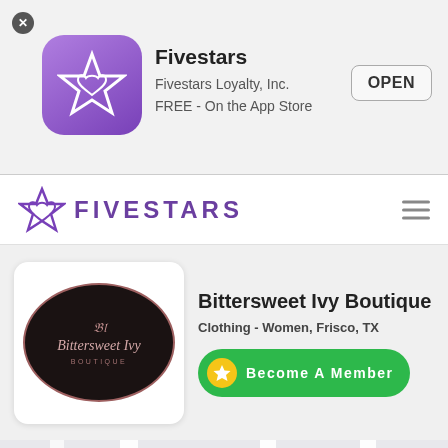[Figure (screenshot): App Store smart banner for Fivestars app showing purple star icon, app name 'Fivestars', subtitle 'Fivestars Loyalty, Inc.' and 'FREE - On the App Store', and an OPEN button]
[Figure (logo): Fivestars navigation bar with purple star logo and FIVESTARS text in purple, hamburger menu icon on right]
[Figure (logo): Bittersweet Ivy Boutique logo - black oval with pink border and cursive text on white rounded square card]
Bittersweet Ivy Boutique
Clothing - Women, Frisco, TX
[Figure (infographic): Green 'Become A Member' button with yellow star circle icon]
[Figure (map): Street map showing intersections of 3R, 5TH ST, 6TH ST, OAK ST, MAIN ST with a purple Fivestars location pin marker]